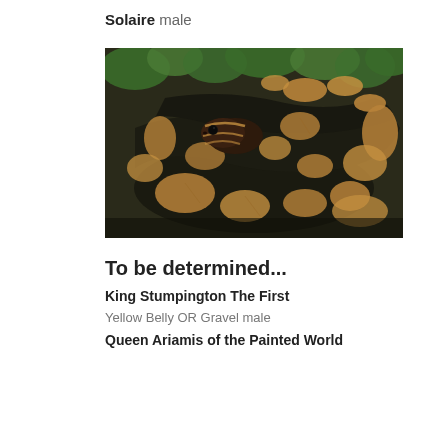Solaire male
[Figure (photo): A ball python snake coiled up, showing dark black and brown/tan pattern scales, with its head visible resting on its coils. Green leaves visible in the background.]
To be determined...
King Stumpington The First
Yellow Belly OR Gravel male
Queen Ariamis of the Painted World